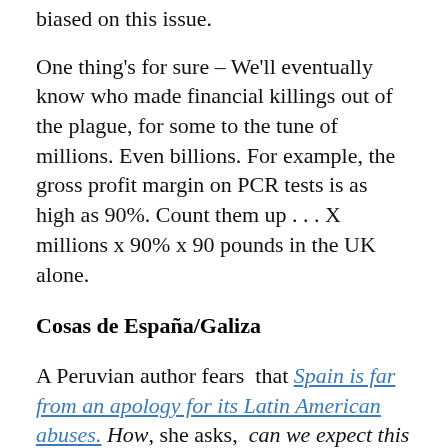biased on this issue.
One thing's for sure – We'll eventually know who made financial killings out of the plague, for some to the tune of millions. Even billions. For example, the gross profit margin on PCR tests is as high as 90%. Count them up … X millions x 90% x 90 pounds in the UK alone.
Cosas de España/Galiza
A Peruvian author fears  that Spain is far from an apology for its Latin American abuses. How, she asks,  can we expect this country, which is still so